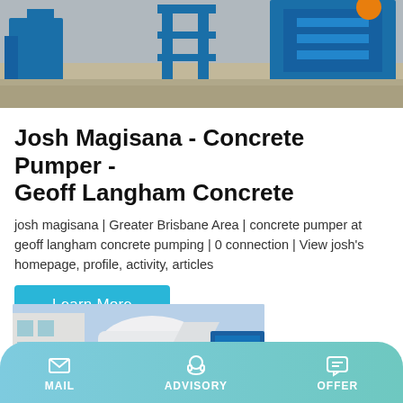[Figure (photo): Construction site with blue concrete equipment and machinery outdoors]
Josh Magisana - Concrete Pumper - Geoff Langham Concrete
josh magisana | Greater Brisbane Area | concrete pumper at geoff langham concrete pumping | 0 connection | View josh's homepage, profile, activity, articles
Learn More
[Figure (photo): Blue and white concrete mixer truck/pumper machinery outdoors]
MAIL   ADVISORY   OFFER